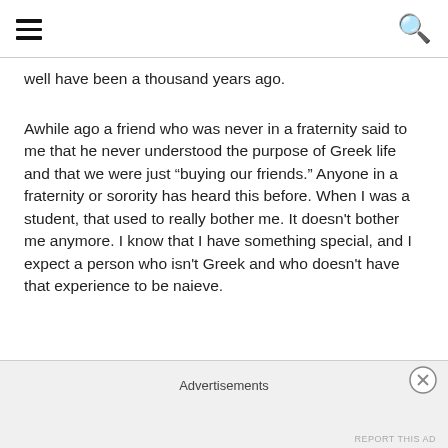well have been a thousand years ago.
Awhile ago a friend who was never in a fraternity said to me that he never understood the purpose of Greek life and that we were just "buying our friends." Anyone in a fraternity or sorority has heard this before. When I was a student, that used to really bother me. It doesn't bother me anymore. I know that I have something special, and I expect a person who isn't Greek and who doesn't have that experience to be naieve.
I continue to care for the families for Alpha Xi Delta, and
Advertisements